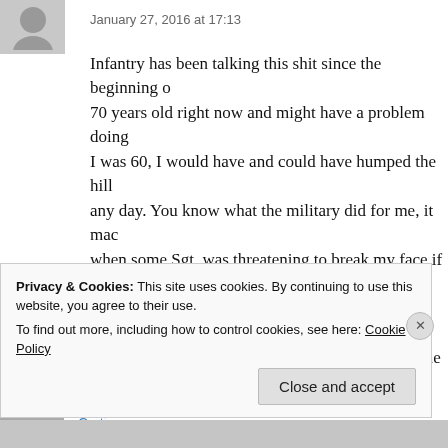January 27, 2016 at 17:13
Infantry has been talking this shit since the beginning of time. I am 70 years old right now and might have a problem doing it today, but when I was 60, I would have and could have humped the hills with anyone any day. You know what the military did for me, it made me brave enough when some Sgt. was threatening to break my face if I didn't. Back in the old days in the Corps, A corporal was Jesus Christ himself, and if he said shoot yourself in the leg, I would have done it. PAIN is just evil leaving your body!
Like
Privacy & Cookies: This site uses cookies. By continuing to use this website, you agree to their use.
To find out more, including how to control cookies, see here: Cookie Policy
Close and accept